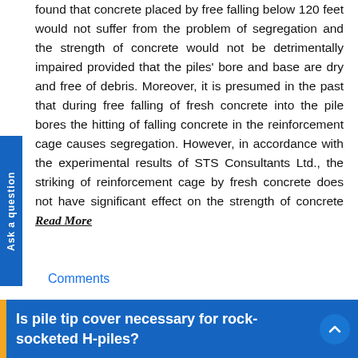found that concrete placed by free falling below 120 feet would not suffer from the problem of segregation and the strength of concrete would not be detrimentally impaired provided that the piles' bore and base are dry and free of debris. Moreover, it is presumed in the past that during free falling of fresh concrete into the pile bores the hitting of falling concrete in the reinforcement cage causes segregation. However, in accordance with the experimental results of STS Consultants Ltd., the striking of reinforcement cage by fresh concrete does not have significant effect on the strength of concrete Read More
Comments
Is pile tip cover necessary for rock-socketed H-piles?